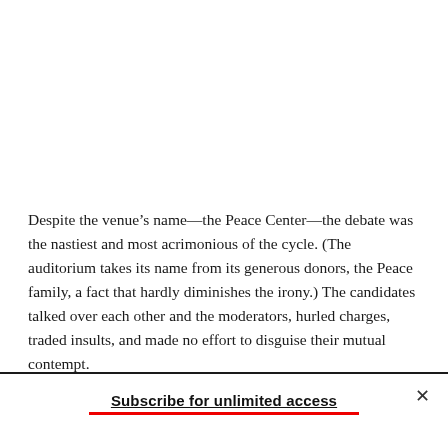Despite the venue's name—the Peace Center—the debate was the nastiest and most acrimonious of the cycle. (The auditorium takes its name from its generous donors, the Peace family, a fact that hardly diminishes the irony.) The candidates talked over each other and the moderators, hurled charges, traded insults, and made no effort to disguise their mutual contempt.
Subscribe for unlimited access